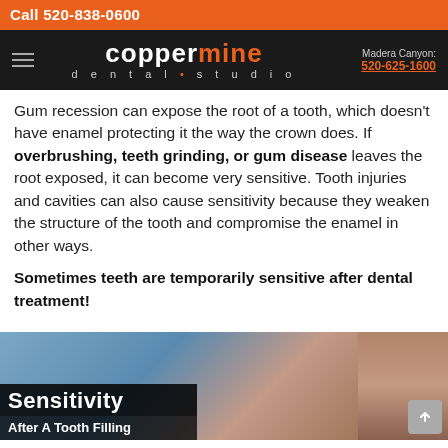Call 520-838-0600
coppermine dental•studio — Madera Canyon: 520-625-1600
Gum recession can expose the root of a tooth, which doesn't have enamel protecting it the way the crown does. If overbrushing, teeth grinding, or gum disease leaves the root exposed, it can become very sensitive. Tooth injuries and cavities can also cause sensitivity because they weaken the structure of the tooth and compromise the enamel in other ways.
Sometimes teeth are temporarily sensitive after dental treatment!
[Figure (photo): Photo showing a woman with text overlay reading 'Sensitivity After A Tooth Filling']